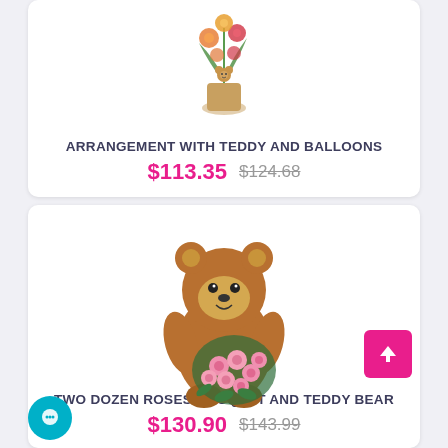[Figure (photo): Floral arrangement with teddy bear and balloons — top portion visible]
ARRANGEMENT WITH TEDDY AND BALLOONS
$113.35  $124.68
[Figure (photo): Brown teddy bear holding a bouquet of pink roses]
TWO DOZEN ROSES BOUQUET AND TEDDY BEAR
$130.90  $143.99